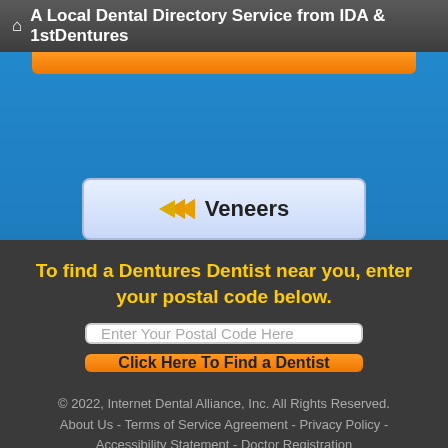A Local Dental Directory Service from IDA & 1stDentures
[Figure (screenshot): Blue section with partially visible orange button at top and a 'Veneers' navigation button with yellow arrow icon on a light blue gradient background]
To find a Dentures Dentist near you, enter your postal code below.
[Figure (screenshot): Input field with placeholder text 'Enter Your Postal Code Here']
[Figure (screenshot): Orange button labeled 'Click Here To Find a Dentist']
© 2022, Internet Dental Alliance, Inc. All Rights Reserved. About Us - Terms of Service Agreement - Privacy Policy - Accessibility Statement - Doctor Registration